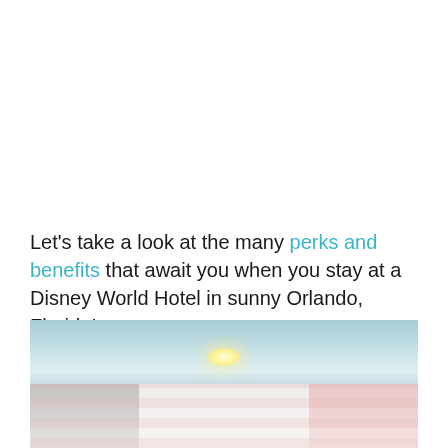Let's take a look at the many perks and benefits that await you when you stay at a Disney World Hotel in sunny Orlando, Florida!
[Figure (photo): Interior photo of a Disney World Hotel room showing blue-painted ceiling with a flower-shaped light fixture in the top half, and the room interior with pink curtains and light walls in the bottom half.]